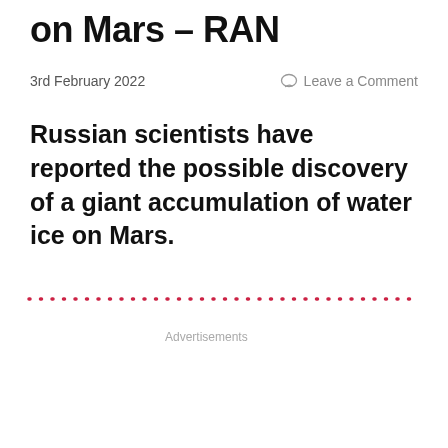on Mars – RAN
3rd February 2022
Leave a Comment
Russian scientists have reported the possible discovery of a giant accumulation of water ice on Mars.
Advertisements